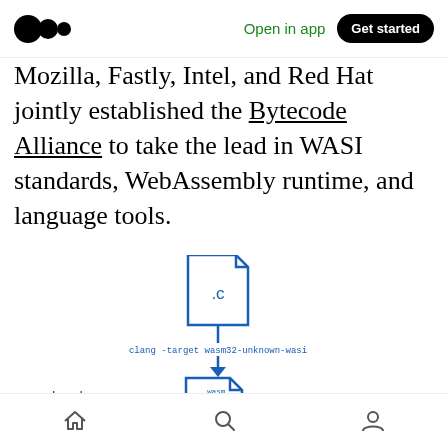Open in app | Get started
Mozilla, Fastly, Intel, and Red Hat jointly established the Bytecode Alliance to take the lead in WASI standards, WebAssembly runtime, and language tools.
[Figure (engineering-diagram): Diagram showing a .c source file compiled with 'clang -target wasm32-unknown-wasi' to produce a .wasm binary file, then distributed via arrows to WebAssembly runtimes. A dashed horizontal line separates the developer zone from the runtime zone. Labels: developer, WebAssembly.]
Home | Search | Profile